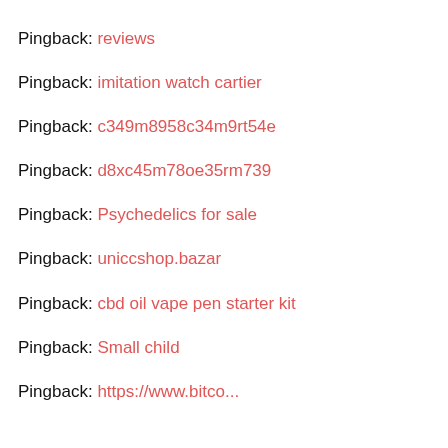Pingback: reviews
Pingback: imitation watch cartier
Pingback: c349m8958c34m9rt54e
Pingback: d8xc45m78oe35rm739
Pingback: Psychedelics for sale
Pingback: uniccshop.bazar
Pingback: cbd oil vape pen starter kit
Pingback: Small child
Pingback: [link]